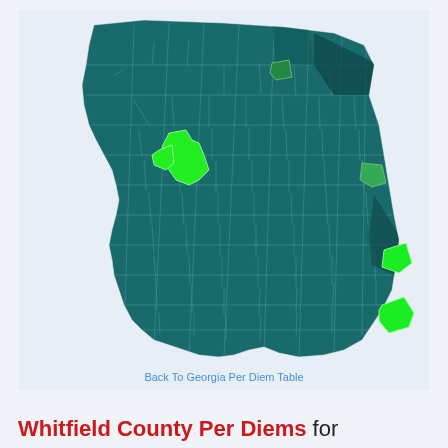[Figure (map): Choropleth map of Georgia counties showing per diem rates. Most counties are dark teal/dark green. Several counties are highlighted in bright green including Whitfield county area (upper left-center), a small county in upper middle, a county on the right side, and two counties on the far right coast. A link 'Back To Georgia Per Diem Table' appears at the bottom of the map.]
Back To Georgia Per Diem Table
Whitfield County Per Diems for